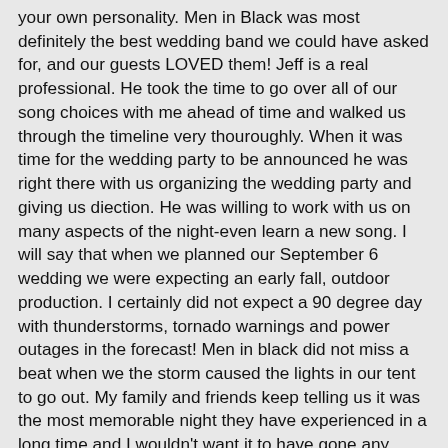your own personality. Men in Black was most definitely the best wedding band we could have asked for, and our guests LOVED them! Jeff is a real professional. He took the time to go over all of our song choices with me ahead of time and walked us through the timeline very thouroughly. When it was time for the wedding party to be announced he was right there with us organizing the wedding party and giving us diection. He was willing to work with us on many aspects of the night-even learn a new song. I will say that when we planned our September 6 wedding we were expecting an early fall, outdoor production. I certainly did not expect a 90 degree day with thunderstorms, tornado warnings and power outages in the forecast! Men in black did not miss a beat when we the storm caused the lights in our tent to go out. My family and friends keep telling us it was the most memorable night they have experienced in a long time and I wouldn't want it to have gone any other way. It could have gone very badly if Men in Black hadn't kept the show running so smoothly. And what a dramatic effect the weather was. Between MIB's preformance and the awesome wedding guests we had, it was just the most fun ever. I have never seen so many people on the dance floor before dinner was served. When the night was coming to an end the band played 3 encores and people definitely wanted more. I can't